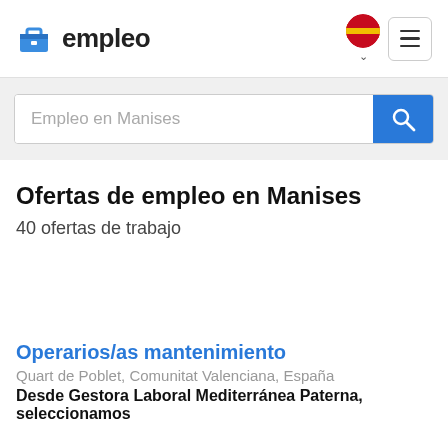empleo
Empleo en Manises
Ofertas de empleo en Manises
40 ofertas de trabajo
Operarios/as mantenimiento
Quart de Poblet, Comunitat Valenciana, España
Desde Gestora Laboral Mediterránea Paterna, seleccionamos